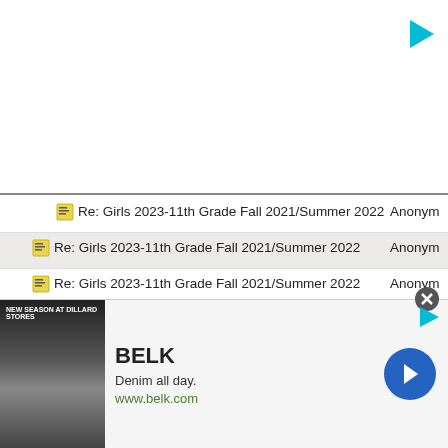[Figure (screenshot): White advertisement banner area at top with cyan play button icon in top-right corner]
Re: Girls 2023-11th Grade Fall 2021/Summer 2022 | Anonym
Re: Girls 2023-11th Grade Fall 2021/Summer 2022 | Anonym
Re: Girls 2023-11th Grade Fall 2021/Summer 2022 | Anonym
Re: Girls 2023-11th Grade Fall 2021/Summer 2022 | Anonym
Re: Girls 2023-11th Grade Fall 2021/Summer 2022 | Anonym
Re: Girls 2023-11th Grade Fall 2021/Summer 2022 | Anonym
Re: Girls 2023-11th Grade Fall 2021/Summer 2022 | Anonym
[Figure (screenshot): BELK advertisement banner at bottom: Denim all day. www.belk.com with blue arrow button and close X button]